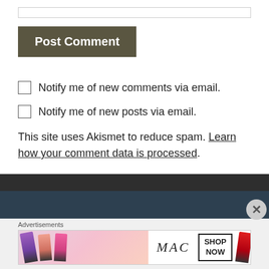Post Comment
Notify me of new comments via email.
Notify me of new posts via email.
This site uses Akismet to reduce spam. Learn how your comment data is processed.
Advertisements
[Figure (photo): MAC cosmetics advertisement showing lipsticks in purple, peach, pink, and red colors with MAC logo and SHOP NOW button]